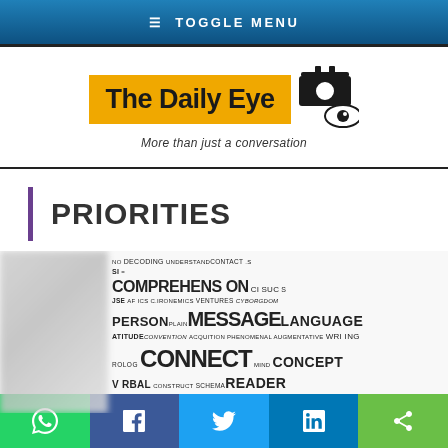≡ TOGGLE MENU
[Figure (logo): The Daily Eye logo — yellow background with bold black text 'The Daily Eye' and a camera/eye icon. Tagline: 'More than just a conversation']
PRIORITIES
[Figure (infographic): Word cloud with communication-related terms: COMPREHENSION, MESSAGE, LANGUAGE, PERSON, CONNECT, CONCEPT, READER, COMMUNICATION, INFORMATION, IDEA, SHARE, VERBAL, SIGN, MEANS, TRANSLATE, MEDIA, PEOPLE, DECODING, UNDERSTAND, CONTACT, and many others in varying sizes.]
Social sharing buttons: WhatsApp, Facebook, Twitter, LinkedIn, Share